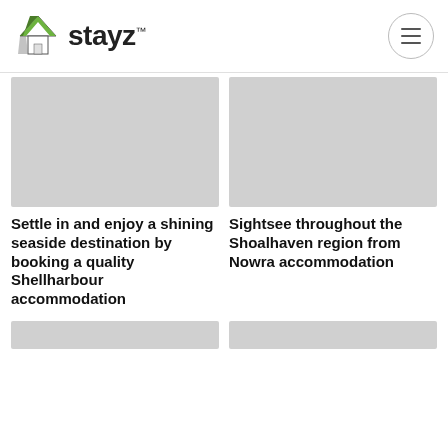stayz
[Figure (photo): Placeholder gray image for Shellharbour accommodation listing]
[Figure (photo): Placeholder gray image for Nowra accommodation listing]
Settle in and enjoy a shining seaside destination by booking a quality Shellharbour accommodation
Sightsee throughout the Shoalhaven region from Nowra accommodation
[Figure (photo): Placeholder gray image bottom left]
[Figure (photo): Placeholder gray image bottom right]